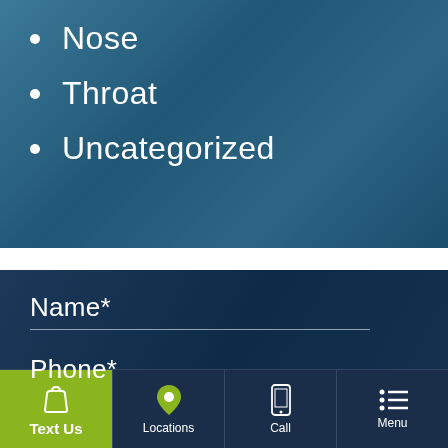Nose
Throat
Uncategorized
Name*
Phone*
Text Us | Locations | Call | Menu